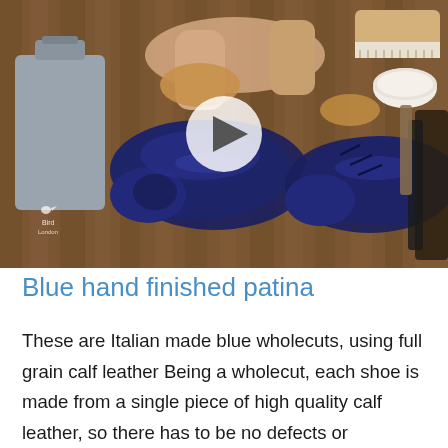[Figure (photo): Video thumbnail showing hands holding a navy blue wholecut dress shoe over a wooden surface, with shoe care tools including a brush, cream tin, and other accessories laid out. A play button circle is overlaid in the center. A gray dust bag with Bird London logo is on the left.]
Blue hand finished patina
These are Italian made blue wholecuts, using full grain calf leather Being a wholecut, each shoe is made from a single piece of high quality calf leather, so there has to be no defects or imperfections. There is just a single joining piece at the back. It's a very elegant,